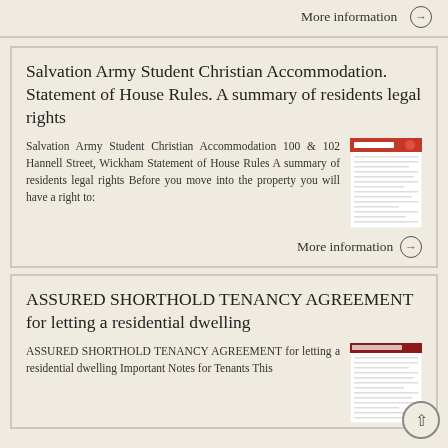More information →
Salvation Army Student Christian Accommodation. Statement of House Rules. A summary of residents legal rights
Salvation Army Student Christian Accommodation 100 & 102 Hannell Street, Wickham Statement of House Rules A summary of residents legal rights Before you move into the property you will have a right to:
[Figure (photo): Thumbnail of Salvation Army document with red header]
More information →
ASSURED SHORTHOLD TENANCY AGREEMENT for letting a residential dwelling
ASSURED SHORTHOLD TENANCY AGREEMENT for letting a residential dwelling Important Notes for Tenants This
[Figure (photo): Thumbnail of Assured Shorthold Tenancy Agreement document]